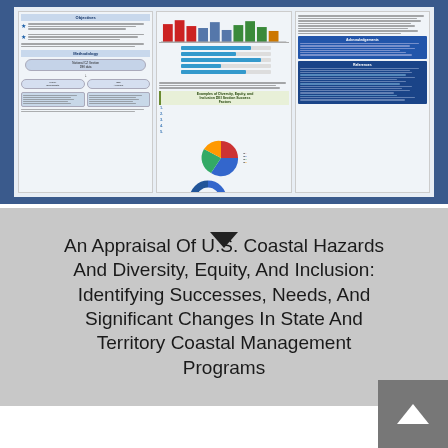[Figure (other): A research poster thumbnail showing multiple columns with text, bar charts, pie charts, donut charts, and flowchart diagrams about U.S. Coastal Hazards and Diversity, Equity, and Inclusion in coastal management programs. The poster has sections including Objectives, Methods, and References on a blue-framed background.]
An Appraisal Of U.S. Coastal Hazards And Diversity, Equity, And Inclusion: Identifying Successes, Needs, And Significant Changes In State And Territory Coastal Management Programs